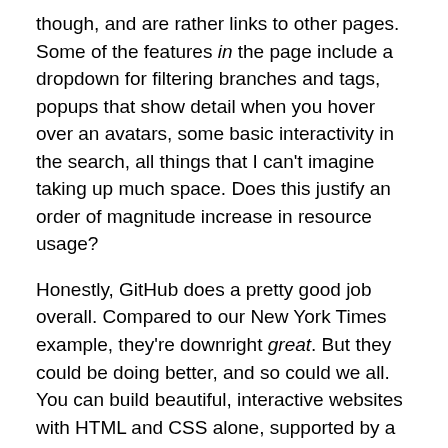though, and are rather links to other pages. Some of the features in the page include a dropdown for filtering branches and tags, popups that show detail when you hover over an avatars, some basic interactivity in the search, all things that I can't imagine taking up much space. Does this justify an order of magnitude increase in resource usage?
Honestly, GitHub does a pretty good job overall. Compared to our New York Times example, they're downright great. But they could be doing better, and so could we all. You can build beautiful, interactive websites with HTML and CSS alone, supported by a simple backend. Pushing the complexity of rendering your single-page app into the frontend might save you miniscule amounts of server-side performance, but you'd just be offloading the costs onto your visitor's phone and sucking their battery dry.
There are easy changes you can make. Enable caching on your web server, with a generous expiry. Use a hash of your resources in the URL so that you can bust the cache